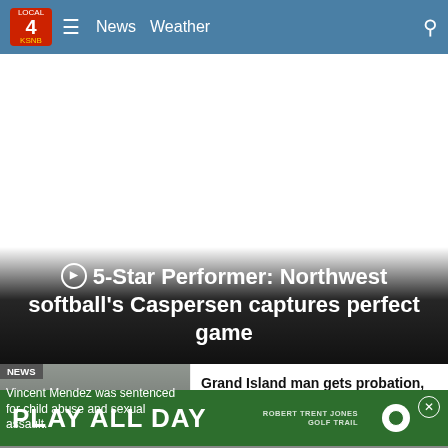LOCAL 4 News Weather
[Figure (screenshot): White video/image placeholder area above the video title overlay]
5-Star Performer: Northwest softball's Caspersen captures perfect game
Vincent Mendez was sentenced for child abuse and sexual assault.
Grand Island man gets probation, jail for child abuse, sexual assault
[Figure (infographic): Advertisement banner: PLAY ALL DAY - Robert Trent Jones Golf Trail]